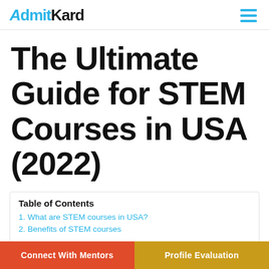AdmitKard
The Ultimate Guide for STEM Courses in USA (2022)
Table of Contents
1. What are STEM courses in USA?
2. Benefits of STEM courses
Connect With Mentors | Profile Evaluation